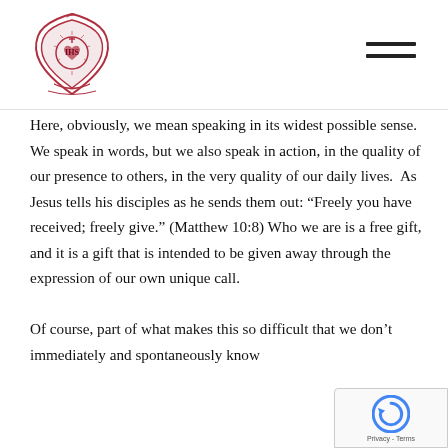[Figure (logo): Jesuit/Catholic institution crest in red/crimson with IHS monogram, shield shape with ornate decoration]
Here, obviously, we mean speaking in its widest possible sense.  We speak in words, but we also speak in action, in the quality of our presence to others, in the very quality of our daily lives.  As Jesus tells his disciples as he sends them out: “Freely you have received; freely give.” (Matthew 10:8) Who we are is a free gift, and it is a gift that is intended to be given away through the expression of our own unique call.
Of course, part of what makes this so difficult that we don’t immediately and spontaneously know